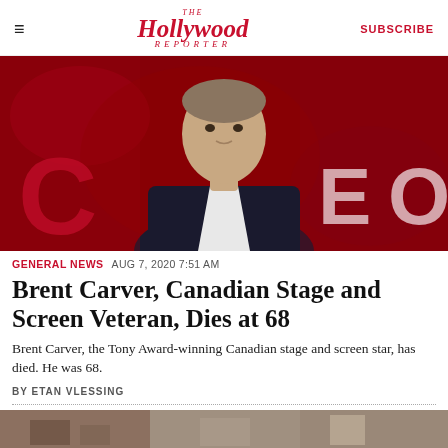THE Hollywood REPORTER | SUBSCRIBE
[Figure (photo): Brent Carver, a middle-aged man in a dark suit with white shirt, photographed against a vivid red artistic background with partial letters visible (C, E, O).]
GENERAL NEWS  AUG 7, 2020  7:51 AM
Brent Carver, Canadian Stage and Screen Veteran, Dies at 68
Brent Carver, the Tony Award-winning Canadian stage and screen star, has died. He was 68.
BY ETAN VLESSING
[Figure (photo): Bottom partial image strip, appears to show an interior scene, partially visible at the bottom of the page.]